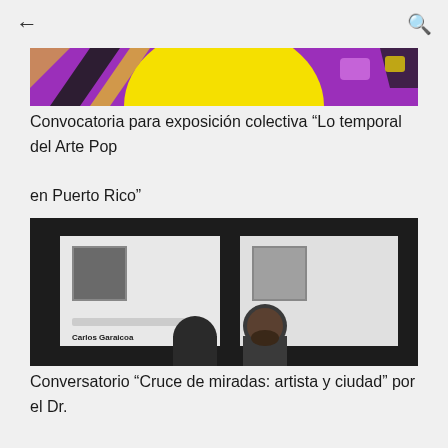[Figure (photo): Colorful abstract art with purple, yellow and black shapes — top portion of an artwork]
Convocatoria para exposición colectiva “Lo temporal del Arte Pop en Puerto Rico”
[Figure (photo): Two people standing in front of exhibition panels showing portraits of Carlos Garaicoa and Eduardo Lalo in a dark-walled gallery]
Conversatorio “Cruce de miradas: artista y ciudad” por el Dr. Daniel Expósito y Elizabeth Robles en la Fundación Casa Cortés, San Juan